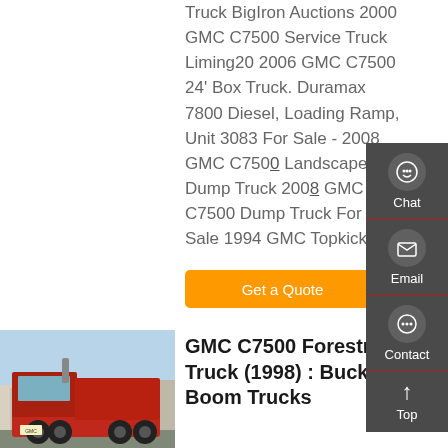Truck BigIron Auctions 2000 GMC C7500 Service Truck Liming20 2006 GMC C7500 24' Box Truck. Duramax 7800 Diesel, Loading Ramp, Unit 3083 For Sale - 2008 GMC C7500 Landscape Dump Truck 2008 GMC C7500 Dump Truck For Sale 1994 GMC Topkick | 2
[Figure (other): Orange button: Get a Quote]
[Figure (photo): Red dump truck (GMC C7500 style) parked outside a building, front-left view]
GMC C7500 Forestry Truck (1998) : Bucket / Boom Trucks
[Figure (other): Side navigation panel with Chat (headset icon), Email (envelope icon), Contact (speech bubble icon), and Top (up arrow) options on dark gray background]